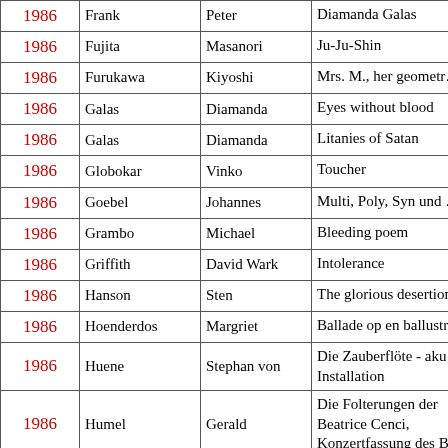| Year | Last Name | First Name | Title |
| --- | --- | --- | --- |
| 1986 | Frank | Peter | Diamanda Galas |
| 1986 | Fujita | Masanori | Ju-Ju-Shin |
| 1986 | Furukawa | Kiyoshi | Mrs. M., her geometr… |
| 1986 | Galas | Diamanda | Eyes without blood |
| 1986 | Galas | Diamanda | Litanies of Satan |
| 1986 | Globokar | Vinko | Toucher |
| 1986 | Goebel | Johannes | Multi, Poly, Syn und … |
| 1986 | Grambo | Michael | Bleeding poem |
| 1986 | Griffith | David Wark | Intolerance |
| 1986 | Hanson | Sten | The glorious desertion… |
| 1986 | Hoenderdos | Margriet | Ballade op en ballustr… |
| 1986 | Huene | Stephan von | Die Zauberflöte - aku… Installation |
| 1986 | Humel | Gerald | Die Folterungen der Beatrice Cenci, Konzertfassung des B… |
| 1986 | Ishii | Maki | A-Bi-Ra-Un-Ken op.… |
| 1986 | Jacobs | Ken | Little Stabs at Happin… |
| 1986 | Johnson | Bengt Emil | Through the mirror of… |
| 1986 | Johnson | David C. | Of burning a candle |